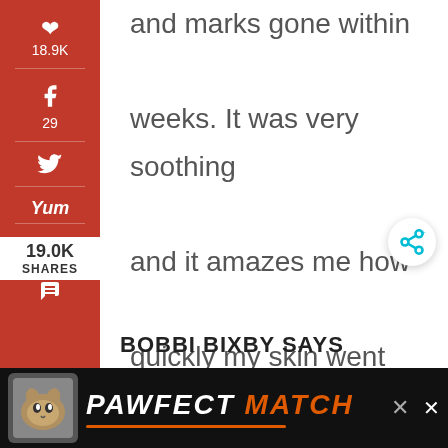and marks gone within weeks. It was very soothing and it amazes me how quickly my skin went back to normal.
Reply
19.0K SHARES
BOBBI BIXBY SAYS
[Figure (screenshot): PAWFECT MATCH advertisement banner at bottom of page with cat photo]
[Figure (screenshot): Social media share sidebar with Pinterest (18.9K), Facebook (29), Twitter, Yummly, Email, Print icons]